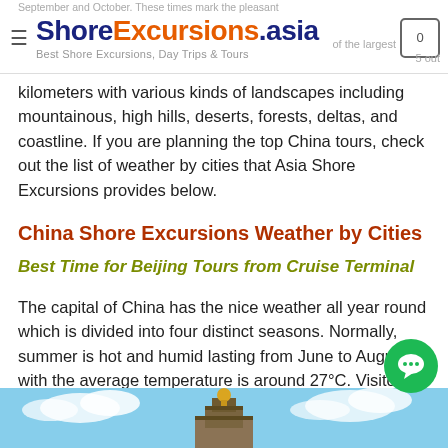ShoreExcursions.asia – Best Shore Excursions, Day Trips & Tours
kilometers with various kinds of landscapes including mountainous, high hills, deserts, forests, deltas, and coastline. If you are planning the top China tours, check out the list of weather by cities that Asia Shore Excursions provides below.
China Shore Excursions Weather by Cities
Best Time for Beijing Tours from Cruise Terminal
The capital of China has the nice weather all year round which is divided into four distinct seasons. Normally, summer is hot and humid lasting from June to August with the average temperature is around 27°C. Visitors should avoid this time due to the heaviest rainfall can be met in July. Contrast to summer, winter in Beijing is cold and dry an lead to freezing at night.
[Figure (photo): Bottom portion showing a building with ornamental golden dome against a blue sky with clouds, partially visible at bottom of page.]